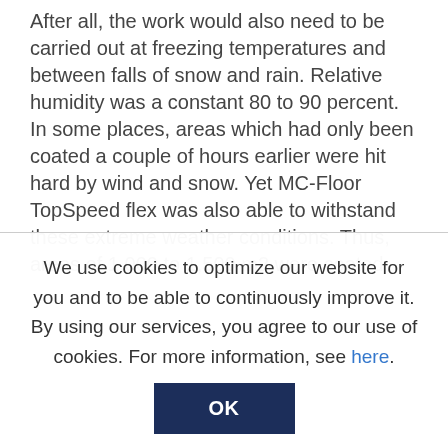After all, the work would also need to be carried out at freezing temperatures and between falls of snow and rain. Relative humidity was a constant 80 to 90 percent. In some places, areas which had only been coated a couple of hours earlier were hit hard by wind and snow. Yet MC-Floor TopSpeed flex was also able to withstand these extreme weather conditions. Thus, areas of 1,000 to 1,500 m2 were coated
We use cookies to optimize our website for you and to be able to continuously improve it. By using our services, you agree to our use of cookies. For more information, see here.